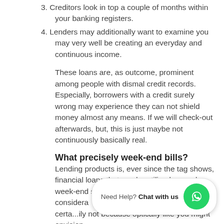3. Creditors look in top a couple of months within your banking registers.
4. Lenders may additionally want to examine you may very well be creating an everyday and continuous income.
These loans are, as outcome, prominent among people with dismal credit records. Especially, borrowers with a credit surely wrong may experience they can not shield money almost any means. If we will check-out afterwards, but, this is just maybe not continuously basically real.
What precisely week-end bills?
Lending products is, ever since the tag shows, financial loans that can be utilized around week-end sunday. Give considera                                    y transfers is almost certa...ily not because optically like you might envision.